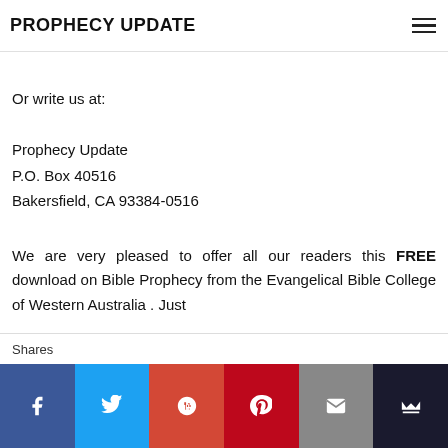PROPHECY UPDATE
Or write us at:
Prophecy Update
P.O. Box 40516
Bakersfield, CA 93384-0516
We are very pleased to offer all our readers this FREE download on Bible Prophecy from the Evangelical Bible College of Western Australia . Just